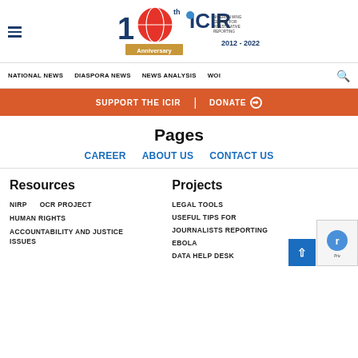[Figure (logo): ICIR 10th Anniversary logo with globe, red/blue '10th', 'Anniversary' ribbon, ICIR text with globe icon, and '2012-2022' tagline]
NATIONAL NEWS | DIASPORA NEWS | NEWS ANALYSIS | WOI
SUPPORT THE ICIR | DONATE
Pages
CAREER
ABOUT US
CONTACT US
Resources
Projects
NIRP
OCR PROJECT
HUMAN RIGHTS
ACCOUNTABILITY AND JUSTICE ISSUES
LEGAL TOOLS
USEFUL TIPS FOR
JOURNALISTS REPORTING
EBOLA
DATA HELP DESK